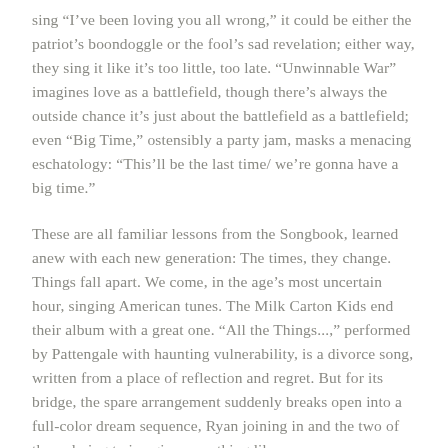sing “I’ve been loving you all wrong,” it could be either the patriot’s boondoggle or the fool’s sad revelation; either way, they sing it like it’s too little, too late. “Unwinnable War” imagines love as a battlefield, though there’s always the outside chance it’s just about the battlefield as a battlefield; even “Big Time,” ostensibly a party jam, masks a menacing eschatology: “This’ll be the last time/ we’re gonna have a big time.”
These are all familiar lessons from the Songbook, learned anew with each new generation: The times, they change. Things fall apart. We come, in the age’s most uncertain hour, singing American tunes. The Milk Carton Kids end their album with a great one. “All the Things...,” performed by Pattengale with haunting vulnerability, is a divorce song, written from a place of reflection and regret. But for its bridge, the spare arrangement suddenly breaks open into a full-color dream sequence, Ryan joining in and the two of them daring to imagine something like